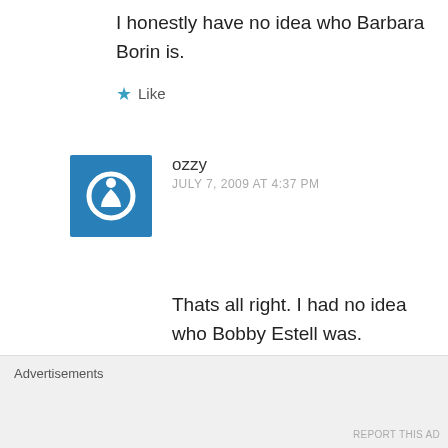I honestly have no idea who Barbara Borin is.
★ Like
ozzy
JULY 7, 2009 AT 4:37 PM
Thats all right. I had no idea who Bobby Estell was. Barbara Borin was one of the first female sports anchors. Ch. 7 put her on, admittedly as a gimmick, to see
Advertisements